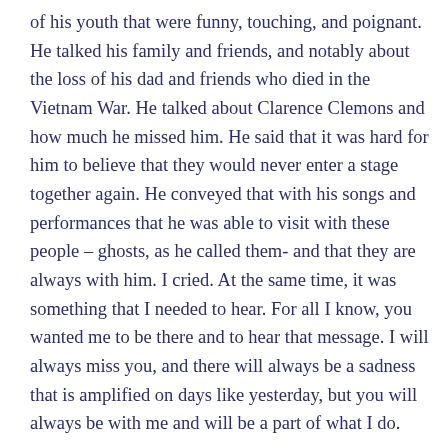of his youth that were funny, touching, and poignant. He talked his family and friends, and notably about the loss of his dad and friends who died in the Vietnam War. He talked about Clarence Clemons and how much he missed him. He said that it was hard for him to believe that they would never enter a stage together again. He conveyed that with his songs and performances that he was able to visit with these people – ghosts, as he called them- and that they are always with him. I cried. At the same time, it was something that I needed to hear. For all I know, you wanted me to be there and to hear that message. I will always miss you, and there will always be a sadness that is amplified on days like yesterday, but you will always be with me and will be a part of what I do.